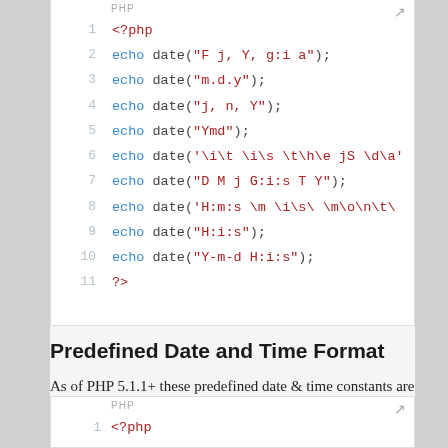[Figure (screenshot): PHP code block showing date() function usage, lines 1-11, with syntax highlighting (blue keywords, dark red strings)]
Predefined Date and Time Format
As of PHP 5.1.1+ these predefined date & time constants are available in PHP. These constants are intended to comply with various date formats.
[Figure (screenshot): PHP code block header showing start of another code example]